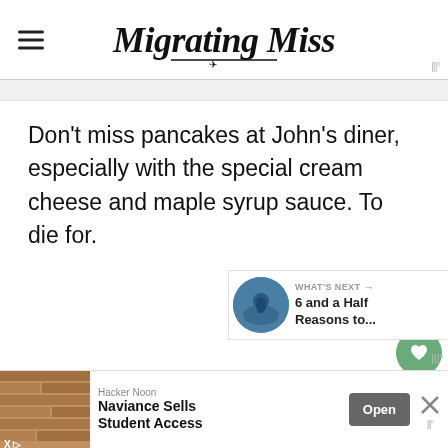Migrating Miss
Don't miss pancakes at John's diner, especially with the special cream cheese and maple syrup sauce. To die for.
[Figure (illustration): Green circular heart/favorite button and a circular share button with shadow]
[Figure (illustration): What's Next panel with thumbnail image and text '6 and a Half Reasons to...']
[Figure (illustration): Advertisement banner: Hacker Noon - Naviance Sells Student Access, with Open button and close X]